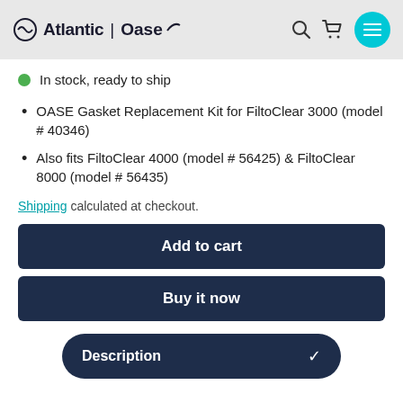Atlantic | Oase
In stock, ready to ship
OASE Gasket Replacement Kit for FiltoClear 3000 (model # 40346)
Also fits FiltoClear 4000 (model # 56425) & FiltoClear 8000 (model # 56435)
Shipping calculated at checkout.
Add to cart
Buy it now
Description